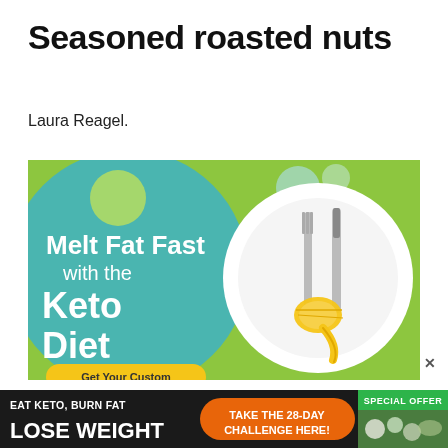Seasoned roasted nuts
Laura Reagel.
[Figure (illustration): Keto diet advertisement banner showing a white plate with fork and knife wrapped in a yellow measuring tape, on a green background with teal accents and circles. Text reads: Melt Fat Fast with the Keto Diet, Get Your Custom...]
[Figure (infographic): Bottom advertisement banner: dark background left side reads EAT KETO, BURN FAT / LOSE WEIGHT; orange rounded button reads TAKE THE 28-DAY CHALLENGE HERE!; green label reads SPECIAL OFFER; right side shows vegetables photo.]